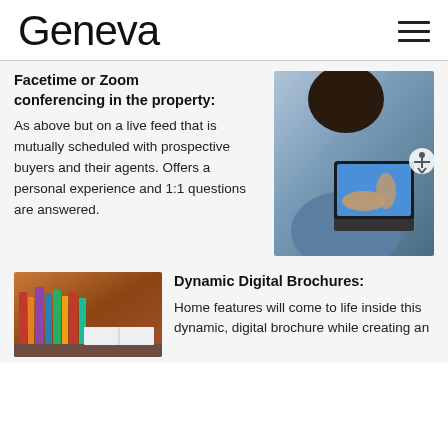Geneva
Facetime or Zoom conferencing in the property:
As above but on a live feed that is mutually scheduled with prospective buyers and their agents. Offers a personal experience and 1:1 questions are answered.
[Figure (photo): Person using a tablet device, viewed from behind, with a video call or similar interface visible on screen. Accessibility icon visible on right edge.]
Dynamic Digital Brochures:
Home features will come to life inside this dynamic, digital brochure while creating an
[Figure (photo): Partial view of a digital brochure or publication with colorful imagery.]